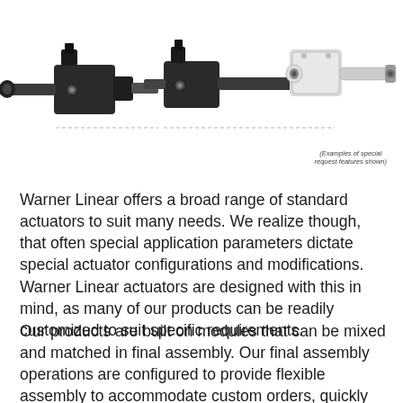[Figure (photo): Three linear actuators shown side by side. Two black/dark actuators on the left and center, one white/light actuator on the right. A note reads '(Examples of special request features shown)']
(Examples of special request features shown)
Warner Linear offers a broad range of standard actuators to suit many needs. We realize though, that often special application parameters dictate special actuator configurations and modifications. Warner Linear actuators are designed with this in mind, as many of our products can be readily customized to suit specific requirements.
Our products are built on modules that can be mixed and matched in final assembly. Our final assembly operations are configured to provide flexible assembly to accommodate custom orders, quickly and cost